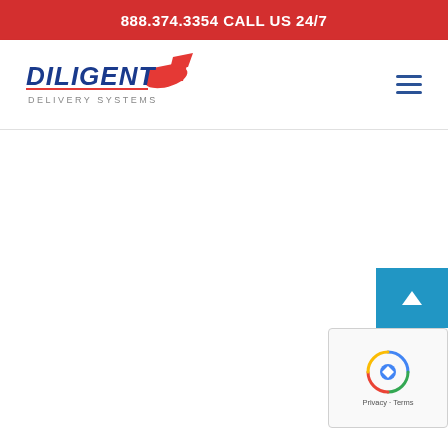888.374.3354 CALL US 24/7
[Figure (logo): Diligent Delivery Systems logo with eagle/bird graphic in red, white, and blue]
[Figure (other): Hamburger menu icon (three horizontal blue lines)]
[Figure (other): Scroll-to-top button, blue background with white upward chevron arrow]
[Figure (other): reCAPTCHA widget showing spinning logo and Privacy - Terms text]